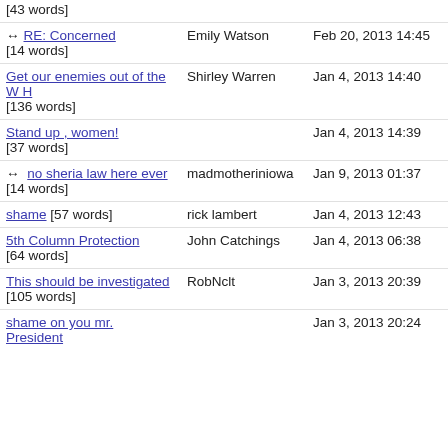[43 words]
↔ RE: Concerned | Emily Watson | Feb 20, 2013 14:45 | [14 words]
Get our enemies out of the W H | Shirley Warren | Jan 4, 2013 14:40 | [136 words]
Stand up , women! | | Jan 4, 2013 14:39 | [37 words]
↔ no sheria law here ever | madmotheriniowa | Jan 9, 2013 01:37 | [14 words]
shame [57 words] | rick lambert | Jan 4, 2013 12:43
5th Column Protection | John Catchings | Jan 4, 2013 06:38 | [64 words]
This should be investigated | RobNclt | Jan 3, 2013 20:39 | [105 words]
shame on you mr. President | | Jan 3, 2013 20:24